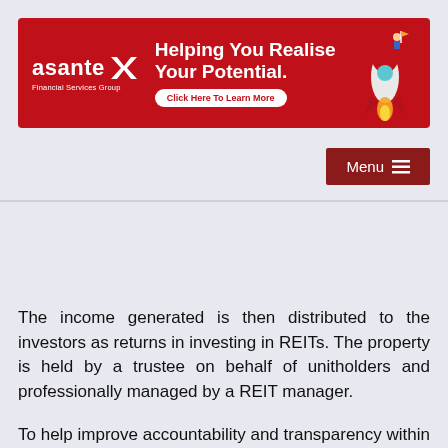[Figure (other): Asante Financial Services Group advertisement banner with red background, logo on left, text 'Helping You Realise Your Potential.' in center with 'Click Here To Learn More' button, and rocket illustration on right]
[Figure (other): Dark red Menu button with hamburger icon (three horizontal lines) in top right]
The income generated is then distributed to the investors as returns in investing in REITs. The property is held by a trustee on behalf of unitholders and professionally managed by a REIT manager.
To help improve accountability and transparency within